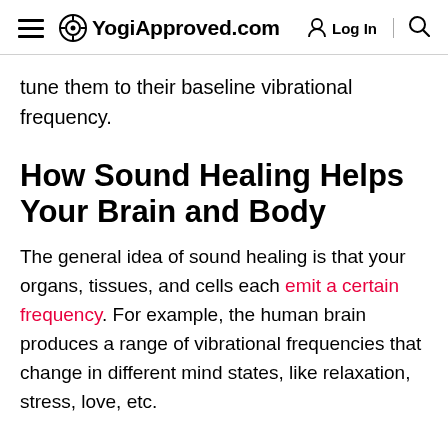YogiApproved.com  Log In
tune them to their baseline vibrational frequency.
How Sound Healing Helps Your Brain and Body
The general idea of sound healing is that your organs, tissues, and cells each emit a certain frequency. For example, the human brain produces a range of vibrational frequencies that change in different mind states, like relaxation, stress, love, etc.